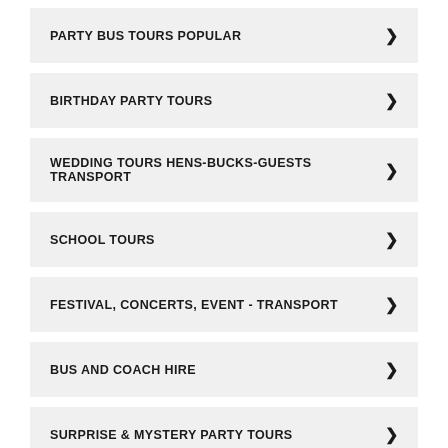PARTY BUS TOURS POPULAR
BIRTHDAY PARTY TOURS
WEDDING TOURS HENS-BUCKS-GUESTS TRANSPORT
SCHOOL TOURS
FESTIVAL, CONCERTS, EVENT - TRANSPORT
BUS AND COACH HIRE
SURPRISE & MYSTERY PARTY TOURS